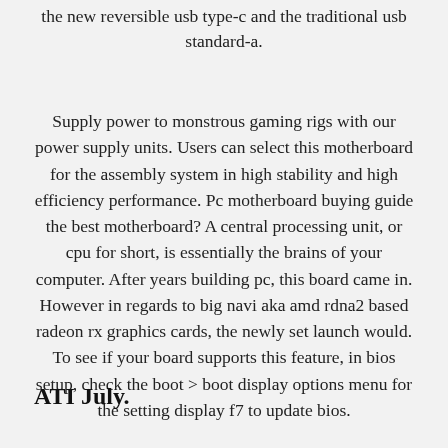the new reversible usb type-c and the traditional usb standard-a.
Supply power to monstrous gaming rigs with our power supply units. Users can select this motherboard for the assembly system in high stability and high efficiency performance. Pc motherboard buying guide the best motherboard? A central processing unit, or cpu for short, is essentially the brains of your computer. After years building pc, this board came in. However in regards to big navi aka amd rdna2 based radeon rx graphics cards, the newly set launch would. To see if your board supports this feature, in bios setup, check the boot > boot display options menu for the setting display f7 to update bios.
ATI July.